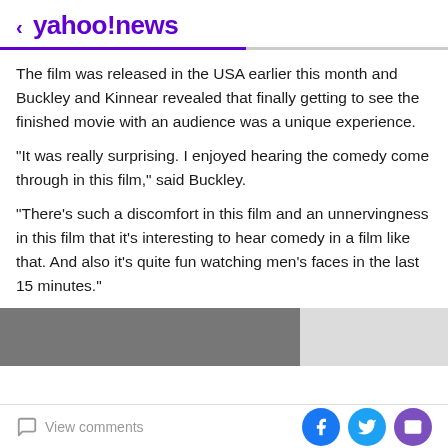< yahoo!news
The film was released in the USA earlier this month and Buckley and Kinnear revealed that finally getting to see the finished movie with an audience was a unique experience.
"It was really surprising. I enjoyed hearing the comedy come through in this film," said Buckley.
"There's such a discomfort in this film and an unnervingness in this film that it's interesting to hear comedy in a film like that. And also it's quite fun watching men's faces in the last 15 minutes."
[Figure (photo): Partial photo strip at the bottom of the article]
View comments | Social sharing icons: Facebook, Twitter, Email